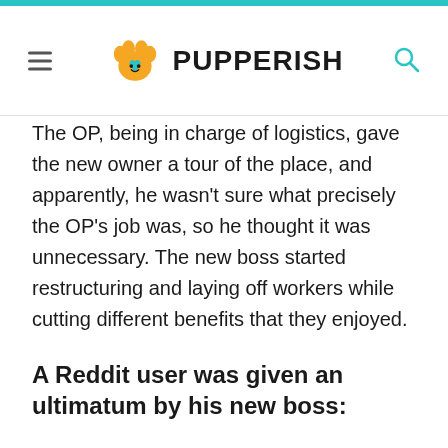PUPPERISH
The OP, being in charge of logistics, gave the new owner a tour of the place, and apparently, he wasn't sure what precisely the OP's job was, so he thought it was unnecessary. The new boss started restructuring and laying off workers while cutting different benefits that they enjoyed.
A Reddit user was given an ultimatum by his new boss: